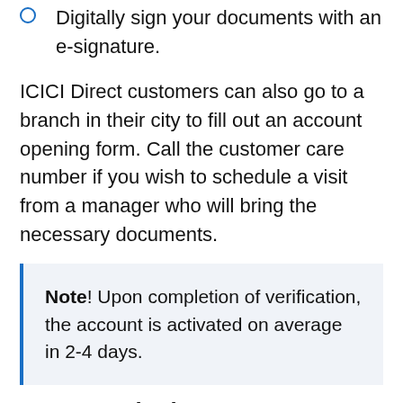Digitally sign your documents with an e-signature.
ICICI Direct customers can also go to a branch in their city to fill out an account opening form. Call the customer care number if you wish to schedule a visit from a manager who will bring the necessary documents.
Note! Upon completion of verification, the account is activated on average in 2-4 days.
Customer login